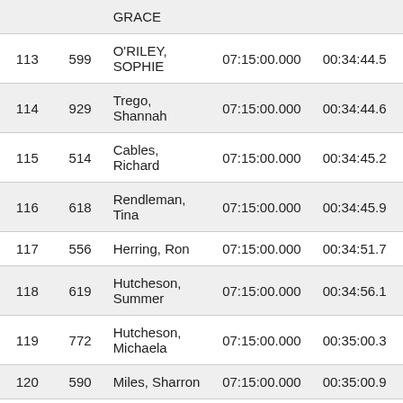| Place | Bib | Name | Start | Finish |
| --- | --- | --- | --- | --- |
|  |  | GRACE |  |  |
| 113 | 599 | O'RILEY, SOPHIE | 07:15:00.000 | 00:34:44.5 |
| 114 | 929 | Trego, Shannah | 07:15:00.000 | 00:34:44.6 |
| 115 | 514 | Cables, Richard | 07:15:00.000 | 00:34:45.2 |
| 116 | 618 | Rendleman, Tina | 07:15:00.000 | 00:34:45.9 |
| 117 | 556 | Herring, Ron | 07:15:00.000 | 00:34:51.7 |
| 118 | 619 | Hutcheson, Summer | 07:15:00.000 | 00:34:56.1 |
| 119 | 772 | Hutcheson, Michaela | 07:15:00.000 | 00:35:00.3 |
| 120 | 590 | Miles, Sharron | 07:15:00.000 | 00:35:00.9 |
|  |  | Schuffert... |  |  |